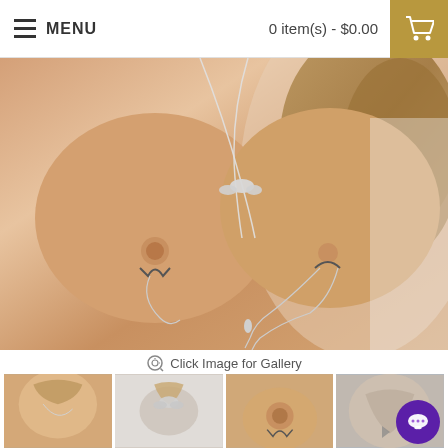MENU  0 item(s) - $0.00
[Figure (photo): Close-up photo of a person's chest wearing decorative silver nipple clamps connected by a delicate chain necklace with a butterfly pendant]
Click Image for Gallery
[Figure (photo): Thumbnail 1: close-up of jewelry chain around neck]
[Figure (photo): Thumbnail 2: butterfly pendant necklace]
[Figure (photo): Thumbnail 3: close-up nipple clamp detail]
[Figure (photo): Thumbnail 4: partially visible product image with chat widget overlay]